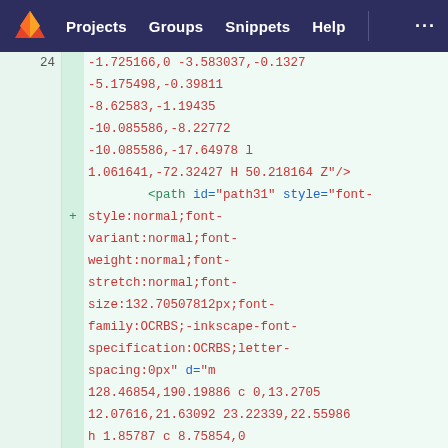Projects  Groups  Snippets  Help  ...
-1.725166,0 -3.583037,-0.1327
-5.175498,-0.39811
-8.62583,-1.19435
-10.085586,-8.22772
-10.085586,-17.64978 l
1.061641,-72.32427 H 50.218164 Z"/>
24  +        <path id="path31" style="font-style:normal;font-variant:normal;font-weight:normal;font-stretch:normal;font-size:132.70507812px;font-family:OCRBS;-inkscape-font-specification:OCRBS;letter-spacing:0px" d="m
128.46854,190.19886 c 0,13.2705
12.07616,21.63092 23.22339,22.55986
h 1.85787 c 8.75854,0
15.6592,-3.45033 21.23282,-8.36042
v 7.9623 h 13.2705 v -6.63525 c